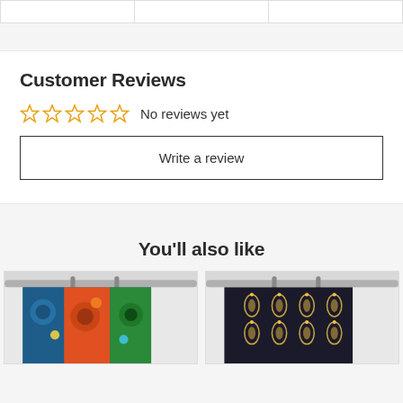|  |  |  |
| --- | --- | --- |
|   |   |   |
Customer Reviews
[Figure (other): Five empty star rating icons in orange/yellow color indicating 0 stars]
No reviews yet
Write a review
You'll also like
[Figure (photo): Colorful peacock feather pattern shower curtain with blue, green, orange, red colors hanging on a rod]
[Figure (photo): Dark black and gold art deco pattern shower curtain hanging on a rod]